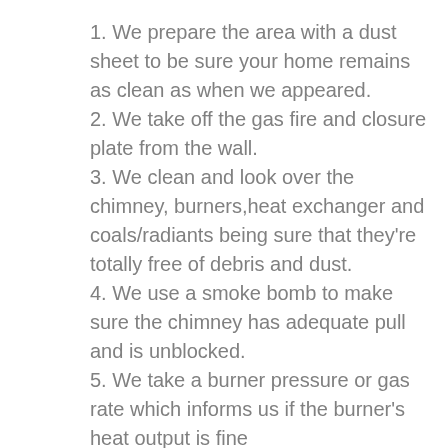1. We prepare the area with a dust sheet to be sure your home remains as clean as when we appeared.
2. We take off the gas fire and closure plate from the wall.
3. We clean and look over the chimney, burners,heat exchanger and coals/radiants being sure that they're totally free of debris and dust.
4. We use a smoke bomb to make sure the chimney has adequate pull and is unblocked.
5. We take a burner pressure or gas rate which informs us if the burner's heat output is fine
6. We test the operation of the fire in every settings.
7. We restore the closure plate and closure plate tape and re-install the fire.